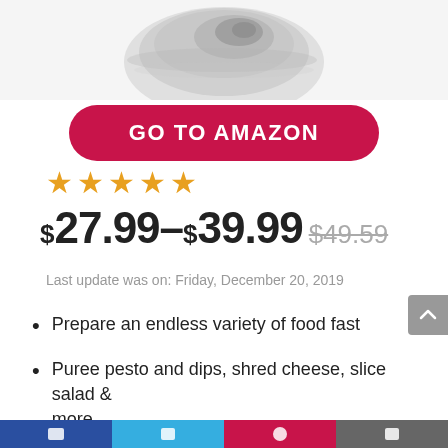[Figure (photo): Partial product image of a kitchen appliance (food processor/blender) in white, shown cropped at top of page]
GO TO AMAZON
[Figure (other): 5 orange stars rating]
$27.99–$39.99 $49.59
Last update was on: Friday, December 20, 2019
Prepare an endless variety of food fast
Puree pesto and dips, shred cheese, slice salad & more